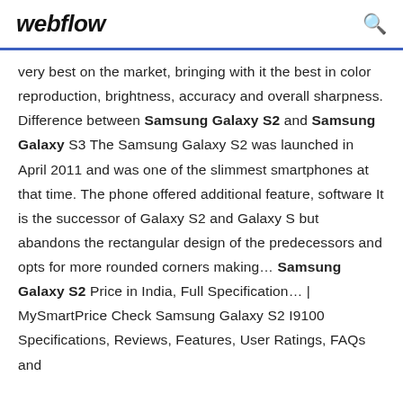webflow
very best on the market, bringing with it the best in color reproduction, brightness, accuracy and overall sharpness. Difference between Samsung Galaxy S2 and Samsung Galaxy S3 The Samsung Galaxy S2 was launched in April 2011 and was one of the slimmest smartphones at that time. The phone offered additional feature, software It is the successor of Galaxy S2 and Galaxy S but abandons the rectangular design of the predecessors and opts for more rounded corners making... Samsung Galaxy S2 Price in India, Full Specification... | MySmartPrice Check Samsung Galaxy S2 I9100 Specifications, Reviews, Features, User Ratings, FAQs and